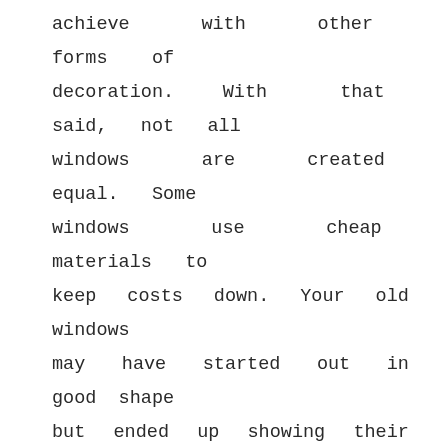achieve with other forms of decoration. With that said, not all windows are created equal. Some windows use cheap materials to keep costs down. Your old windows may have started out in good shape but ended up showing their age as time goes by. They may have even become damaged or otherwise in need of repair. Regardless of the reason, you might have windows in your home that just aren't doing what